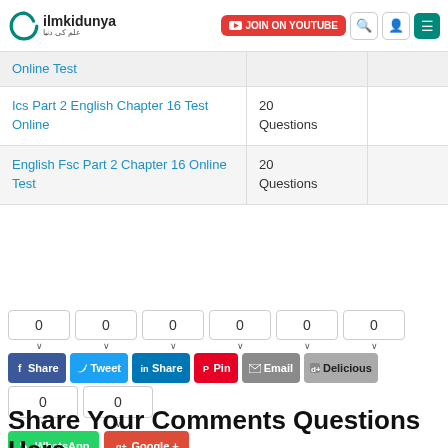ilmkidunya - JOIN ON YOUTUBE
| Test Name | Questions |  |
| --- | --- | --- |
| Online Test |  |  |
| Ics Part 2 English Chapter 16 Test Online | 20 Questions |  |
| English Fsc Part 2 Chapter 16 Online Test | 20 Questions |  |
0  0  0  0  0  0 Share Tweet Share Pin Email Delicious 0  0 WhatsApp Google +
Share Your Comments Questions Here